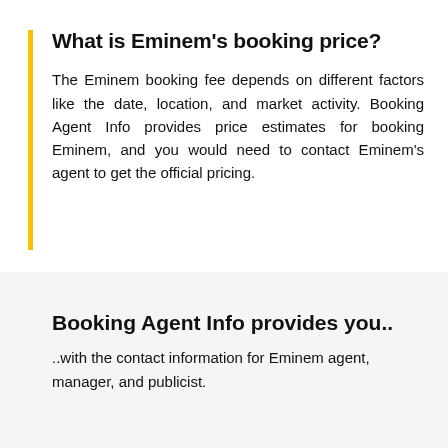What is Eminem's booking price?
The Eminem booking fee depends on different factors like the date, location, and market activity. Booking Agent Info provides price estimates for booking Eminem, and you would need to contact Eminem's agent to get the official pricing.
Booking Agent Info provides you..
..with the contact information for Eminem agent, manager, and publicist.